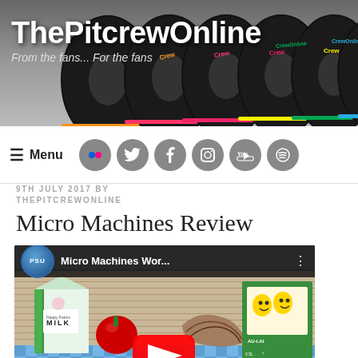[Figure (screenshot): ThePitcrewOnline website header banner with racing tires and logo]
ThePitcrewOnline — From the fans... For the fans
[Figure (screenshot): Navigation bar with hamburger Menu icon and social media icons: Flickr, Twitter, Facebook, Instagram, YouTube, Spotify]
9TH JULY 2017 BY THEPITCREWONLINE
Micro Machines Review
[Figure (screenshot): YouTube video thumbnail showing PSU logo and title 'Micro Machines Wor...' with kitchen scene showing milk carton, tomato, pastry, green box with cartoon character, play button overlay]